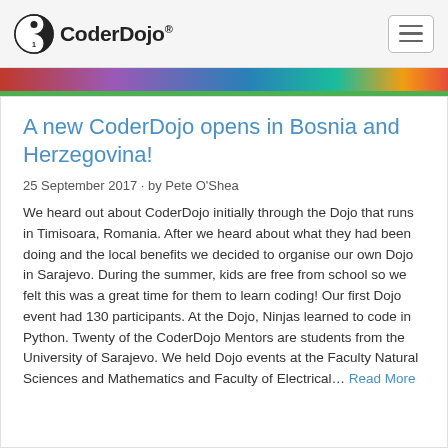CoderDojo
A new CoderDojo opens in Bosnia and Herzegovina!
25 September 2017 · by Pete O'Shea
We heard out about CoderDojo initially through the Dojo that runs in Timisoara, Romania. After we heard about what they had been doing and the local benefits we decided to organise our own Dojo in Sarajevo. During the summer, kids are free from school so we felt this was a great time for them to learn coding! Our first Dojo event had 130 participants. At the Dojo, Ninjas learned to code in Python. Twenty of the CoderDojo Mentors are students from the University of Sarajevo. We held Dojo events at the Faculty Natural Sciences and Mathematics and Faculty of Electrical… Read More